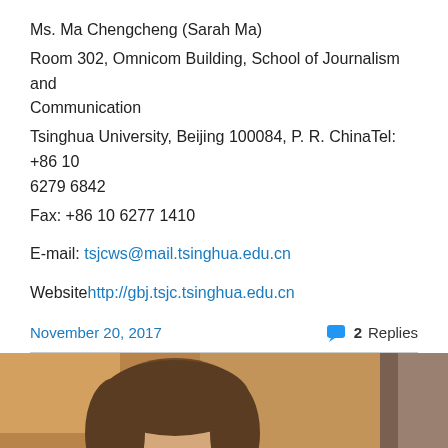Ms. Ma Chengcheng (Sarah Ma)
Room 302, Omnicom Building, School of Journalism and Communication
Tsinghua University, Beijing 100084, P. R. ChinaTel: +86 10 6279 6842
Fax: +86 10 6277 1410
E-mail: tsjcws@mail.tsinghua.edu.cn
Website: http://gbj.tsjc.tsinghua.edu.cn
November 20, 2017   2 Replies
[Figure (photo): Photo of a person, partially visible at the bottom of the page, showing face and upper body against a warm brown background.]